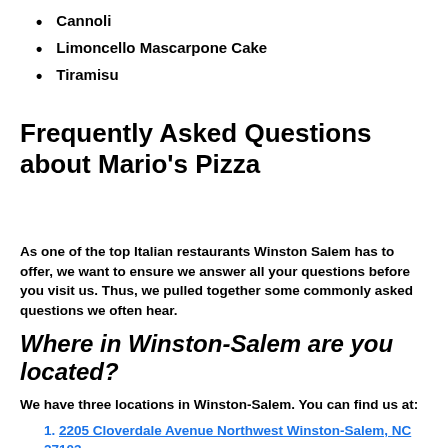Cannoli
Limoncello Mascarpone Cake
Tiramisu
Frequently Asked Questions about Mario's Pizza
As one of the top Italian restaurants Winston Salem has to offer, we want to ensure we answer all your questions before you visit us. Thus, we pulled together some commonly asked questions we often hear.
Where in Winston-Salem are you located?
We have three locations in Winston-Salem. You can find us at:
2205 Cloverdale Avenue Northwest Winston-Salem, NC 27103